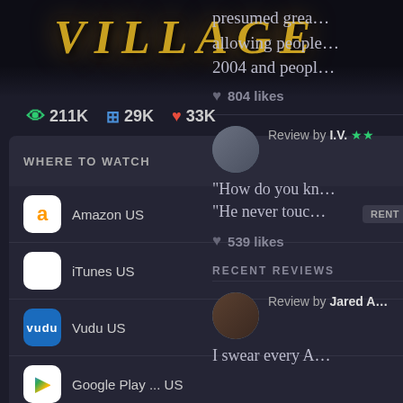[Figure (screenshot): Movie title banner showing VILLAGE in golden stylized text on dark background]
211K  29K  33K
WHERE TO WATCH | Trailer
Amazon US  RENT  BUY  DISC
iTunes US  RENT  BUY
Vudu US  RENT  BUY
Google Play ... US  RENT  BUY
Go PRO to customize this list
All services...  JustWatch
REMOVE ADS ×
presumed grea... allowing people... 2004 and peopl...
804 likes
Review by I.V. ★★
"How do you kn... "He never touc...
539 likes
RECENT REVIEWS
Review by Jared A...
I swear every A...